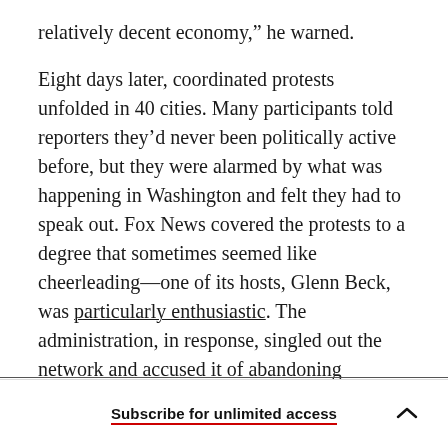relatively decent economy,” he warned.
Eight days later, coordinated protests unfolded in 40 cities. Many participants told reporters they’d never been politically active before, but they were alarmed by what was happening in Washington and felt they had to speak out. Fox News covered the protests to a degree that sometimes seemed like cheerleading—one of its hosts, Glenn Beck, was particularly enthusiastic. The administration, in response, singled out the network and accused it of abandoning journalistic values.
Subscribe for unlimited access